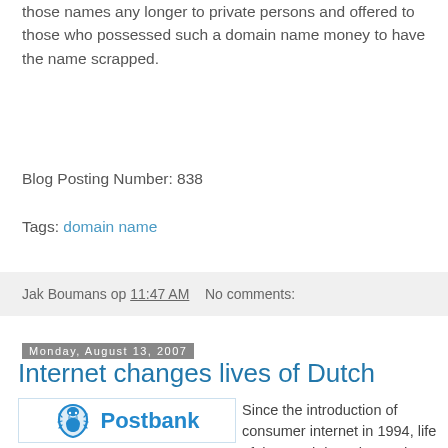those names any longer to private persons and offered to those who possessed such a domain name money to have the name scrapped.
Blog Posting Number: 838
Tags: domain name
Jak Boumans op 11:47 AM   No comments:
Monday, August 13, 2007
Internet changes lives of Dutch
[Figure (logo): Postbank logo with lion icon and blue Postbank text]
Since the introduction of consumer internet in 1994, life of the Dutch has changed dramatically. Internet has been integrated in the daily activities as is clear from the top three activities: searching internet, internet banking and